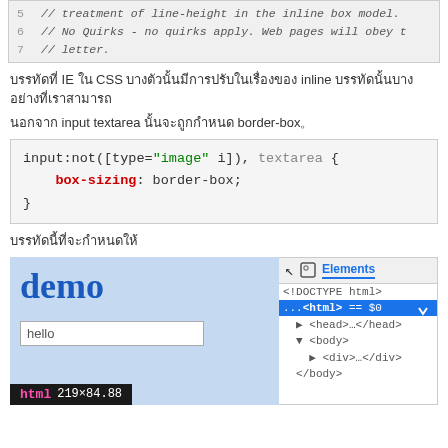[Figure (screenshot): Code block showing lines 5-7 with italic comments about line-height in inline box model, No Quirks mode, and letter.]
บรรทัดที่ IE ใน CSS บางตัวนั้นมีการปรับในเรื่องของ inline บรรทัดนั้นบางอย่างที่เราสามารถ
นอกจาก input textarea นั้นจะถูกกำหนด border-box。
[Figure (screenshot): CSS code block: input:not([type="image" i]), textarea { box-sizing: border-box; }]
บรรทัดนี้ที่จะกำหนดให้
[Figure (screenshot): Browser screenshot showing a demo page with 'demo' heading in blue, a hello input field, html element size bar showing 219x84.88, alongside Chrome DevTools showing Elements panel with HTML structure: <!DOCTYPE html>, ...= $0, head, body, div, /body]